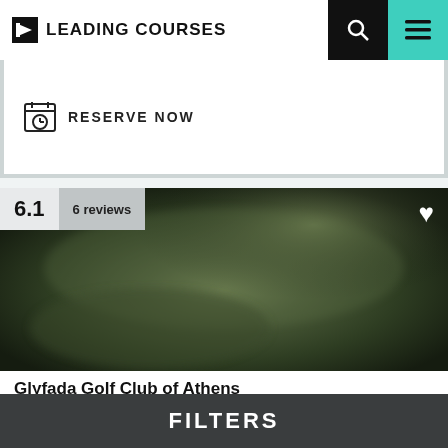LEADING COURSES
RESERVE NOW
[Figure (screenshot): Blurred aerial photo of a golf course with dark green foliage, showing the Glyfada Golf Club of Athens. Rating badge showing 6.1 and 6 reviews is overlaid on the top-left, and a white heart/favorite icon is in the top-right.]
Glyfada Golf Club of Athens
Greece, Attica — from €53
1 golf course — 18 holes
FILTERS